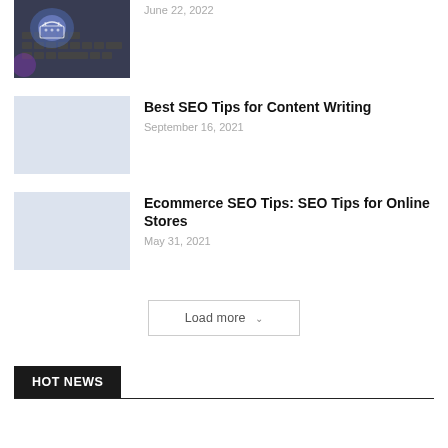[Figure (photo): Thumbnail image of shopping basket on keyboard]
June 22, 2022
Best SEO Tips for Content Writing
September 16, 2021
Ecommerce SEO Tips: SEO Tips for Online Stores
May 31, 2021
Load more
HOT NEWS